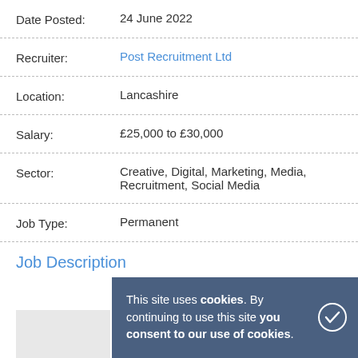Date Posted: 24 June 2022
Recruiter: Post Recruitment Ltd
Location: Lancashire
Salary: £25,000 to £30,000
Sector: Creative, Digital, Marketing, Media, Recruitment, Social Media
Job Type: Permanent
Job Description
This site uses cookies. By continuing to use this site you consent to our use of cookies.